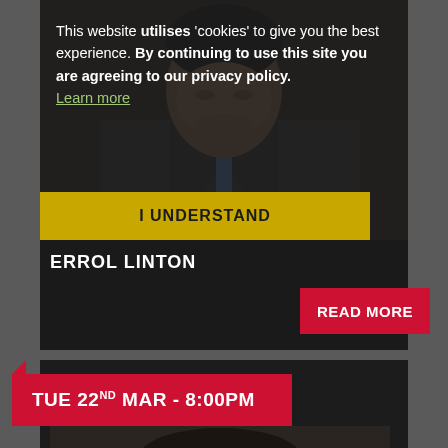[Figure (screenshot): A man in a grey suit with a blue lanyard, looking down, partially obscured by a dark semi-transparent cookie consent overlay]
This website utilises 'cookies' to give you the best experience. By continuing to use this site you are agreeing to our privacy policy. Learn more
I UNDERSTAND
ERROL LINTON
READ MORE
TUE 22ND MAR - 8:00PM
[Figure (photo): Partial photo strip at bottom of page showing dark hair/head of a person]